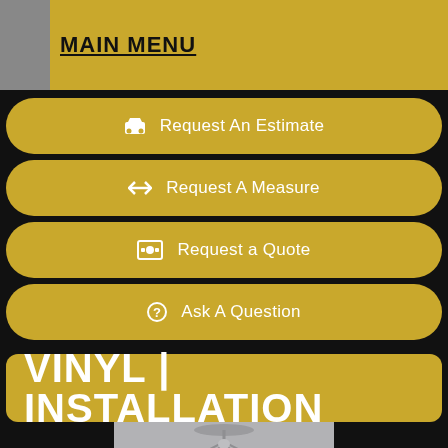MAIN MENU
Request An Estimate
Request A Measure
Request a Quote
Ask A Question
VINYL | INSTALLATION
[Figure (photo): Interior room photo showing a chandelier, partially visible at bottom of page]